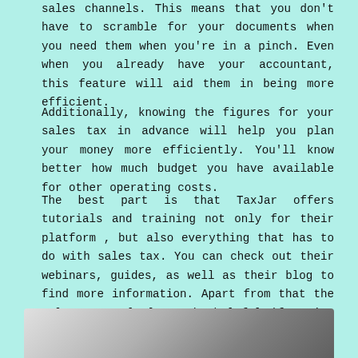sales channels. This means that you don't have to scramble for your documents when you need them when you're in a pinch. Even when you already have your accountant, this feature will aid them in being more efficient.
Additionally, knowing the figures for your sales tax in advance will help you plan your money more efficiently. You'll know better how much budget you have available for other operating costs.
The best part is that TaxJar offers tutorials and training not only for their platform , but also everything that has to do with sales tax. You can check out their webinars, guides, as well as their blog to find more information. Apart from that the sales tax calculator is helpful if you're planning on take on the entire task yourself.
[Figure (photo): Partial view of a photo at the bottom of the page, showing what appears to be a light-colored background with some objects.]